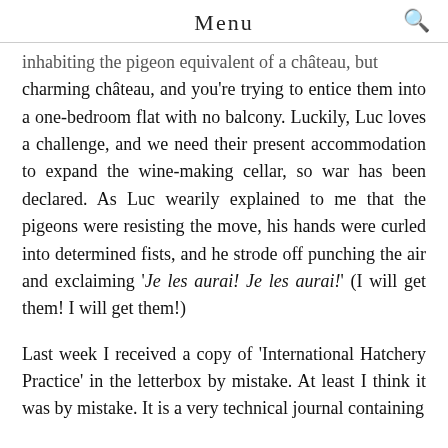Menu
…inhabiting the pigeon equivalent of a château, but charming château, and you're trying to entice them into a one-bedroom flat with no balcony. Luckily, Luc loves a challenge, and we need their present accommodation to expand the wine-making cellar, so war has been declared. As Luc wearily explained to me that the pigeons were resisting the move, his hands were curled into determined fists, and he strode off punching the air and exclaiming 'Je les aurai! Je les aurai!' (I will get them! I will get them!)
Last week I received a copy of 'International Hatchery Practice' in the letterbox by mistake. At least I think it was by mistake. It is a very technical journal containing